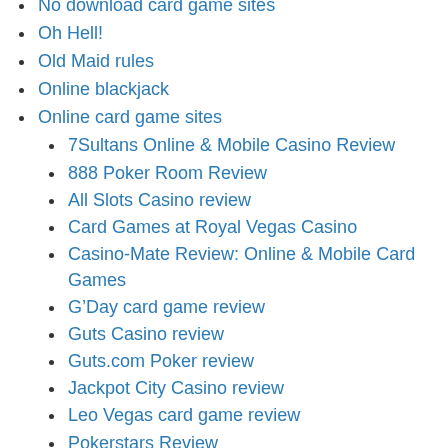No download card game sites
Oh Hell!
Old Maid rules
Online blackjack
Online card game sites
7Sultans Online & Mobile Casino Review
888 Poker Room Review
All Slots Casino review
Card Games at Royal Vegas Casino
Casino-Mate Review: Online & Mobile Card Games
G’Day card game review
Guts Casino review
Guts.com Poker review
Jackpot City Casino review
Leo Vegas card game review
Pokerstars Review